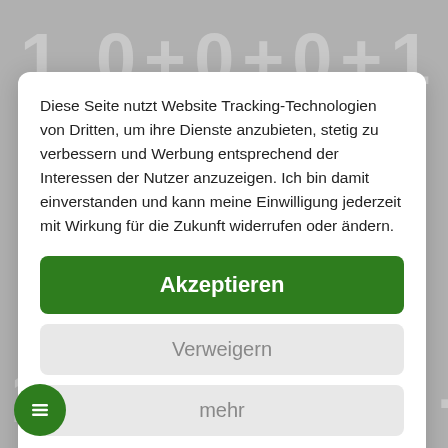Diese Seite nutzt Website Tracking-Technologien von Dritten, um ihre Dienste anzubieten, stetig zu verbessern und Werbung entsprechend der Interessen der Nutzer anzuzeigen. Ich bin damit einverstanden und kann meine Einwilligung jederzeit mit Wirkung für die Zukunft widerrufen oder ändern.
Akzeptieren
Verweigern
mehr
[Figure (logo): Usercentrics logo with dot pattern and text 'usercentrics']